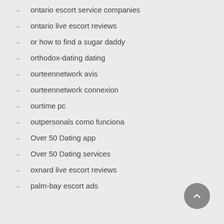ontario escort service companies
ontario live escort reviews
or how to find a sugar daddy
orthodox-dating dating
ourteennetwork avis
ourteennetwork connexion
ourtime pc
outpersonals como funciona
Over 50 Dating app
Over 50 Dating services
oxnard live escort reviews
palm-bay escort ads